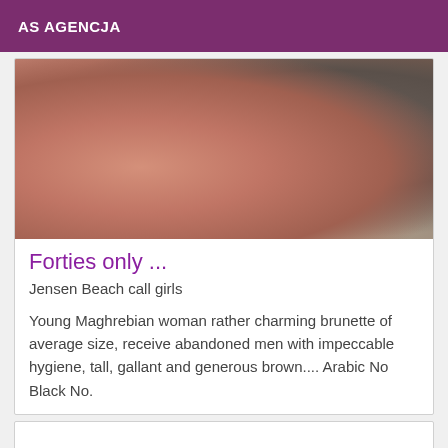AS AGENCJA
[Figure (photo): Close-up photo showing skin tones and a dark cushion/pillow in the background]
Forties only ...
Jensen Beach call girls
Young Maghrebian woman rather charming brunette of average size, receive abandoned men with impeccable hygiene, tall, gallant and generous brown.... Arabic No Black No.